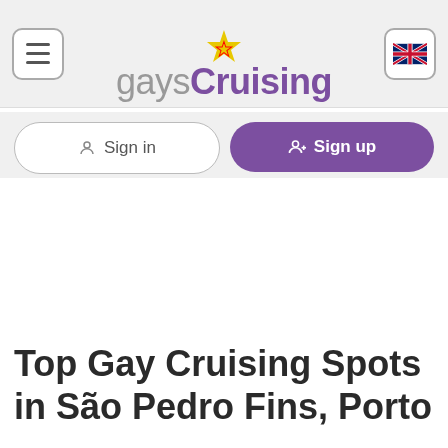gaysCruising
Sign in
Sign up
Top Gay Cruising Spots in São Pedro Fins, Porto